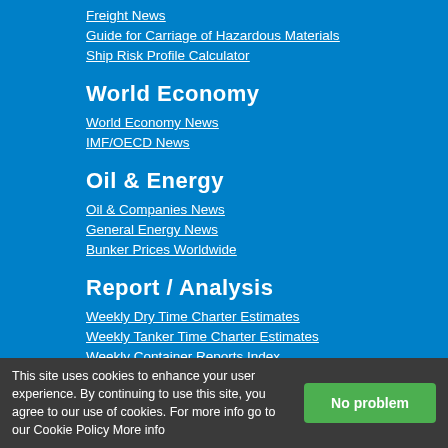Freight News
Guide for Carriage of Hazardous Materials
Ship Risk Profile Calculator
World Economy
World Economy News
IMF/OECD News
Oil & Energy
Oil & Companies News
General Energy News
Bunker Prices Worldwide
Report / Analysis
Weekly Dry Time Charter Estimates
Weekly Tanker Time Charter Estimates
Weekly Container Reports Index
Weekly Vessel Valuations Report
Daily Tanker Market Rates
This site uses cookies to enhance your user experience. By continuing to use this site, you agree to our use of cookies. For more info go to our Cookie Policy More info